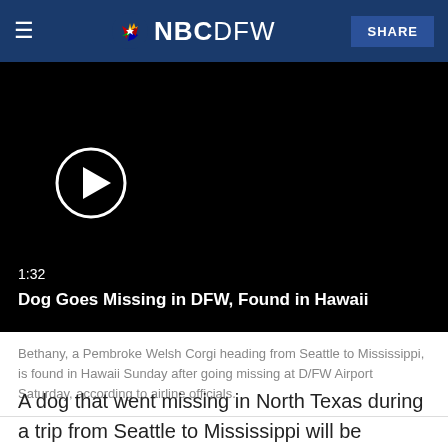NBC5 NBCDFW SHARE
[Figure (screenshot): Video player showing a black screen with a white circle play button. Duration 1:32. Title: Dog Goes Missing in DFW, Found in Hawaii]
Bethany, a Pembroke Welsh Corgi heading from Seattle to Mississippi, is found in Hawaii Sunday after going missing at D/FW Airport Saturday, according to airline officials.
A dog that went missing in North Texas during a trip from Seattle to Mississippi will be reunited with her owner after airline officials said they found her in Hawaii.